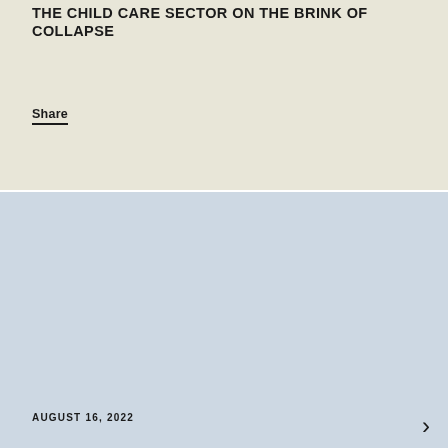THE CHILD CARE SECTOR ON THE BRINK OF COLLAPSE
Share
AUGUST 16, 2022
2022 Inflation Reduction Act: A Strong Step Toward Rebuilding our Economy but Families Need More